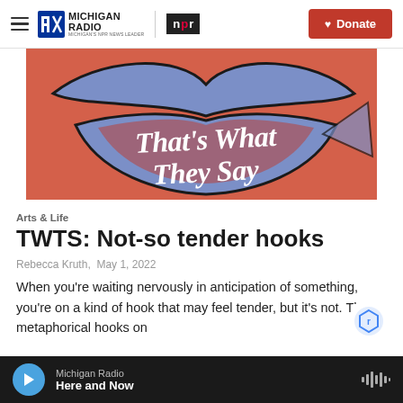Michigan Radio | NPR | Donate
[Figure (illustration): That's What They Say podcast logo — coral/orange background with a stylized open mouth with blue lips, white handwritten text reading 'That's What They Say']
Arts & Life
TWTS: Not-so tender hooks
Rebecca Kruth,  May 1, 2022
When you're waiting nervously in anticipation of something, you're on a kind of hook that may feel tender, but it's not. The metaphorical hooks on
Michigan Radio | Here and Now